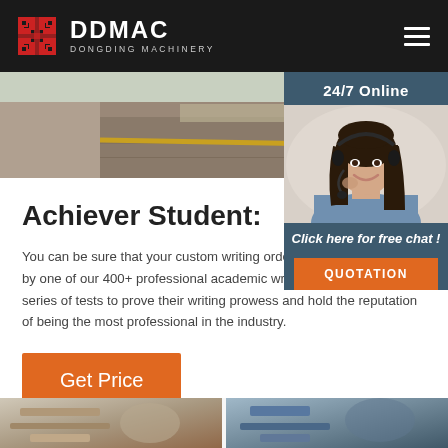[Figure (logo): DDMAC Dongding Machinery logo with red geometric icon on black header bar with hamburger menu]
[Figure (photo): Road surface photo showing asphalt with yellow line — machinery industry hero image]
[Figure (photo): 24/7 Online chat widget showing woman with headset, click for free chat and QUOTATION button]
Achiever Student:
You can be sure that your custom writing order will be accomplished by one of our 400+ professional academic writers. They all pass a series of tests to prove their writing prowess and hold the reputation of being the most professional in the industry.
[Figure (other): Get Price orange button]
[Figure (photo): Bottom strip with two partial machinery/industrial images]